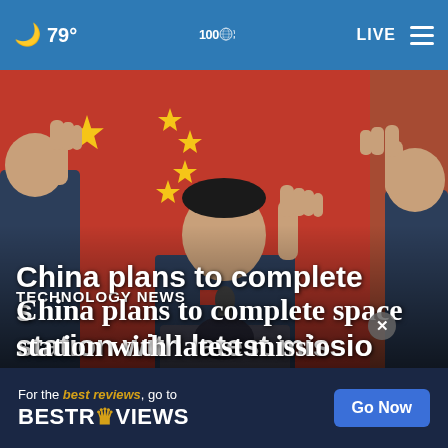🌙 79° | WGN Radio 100 | LIVE
[Figure (photo): Chinese astronauts in dark uniforms raising their hands at a podium in front of a red Chinese flag with yellow stars, appearing to wave or take an oath at a press conference.]
TECHNOLOGY NEWS
China plans to complete space station with latest missio
For the best reviews, go to BESTREVIEWS  Go Now